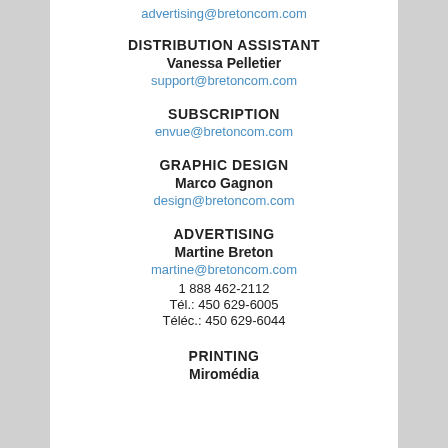advertising@bretoncom.com
DISTRIBUTION ASSISTANT
Vanessa Pelletier
support@bretoncom.com
SUBSCRIPTION
envue@bretoncom.com
GRAPHIC DESIGN
Marco Gagnon
design@bretoncom.com
ADVERTISING
Martine Breton
martine@bretoncom.com
1 888 462-2112
Tél.: 450 629-6005
Téléc.: 450 629-6044
PRINTING
Miromédia